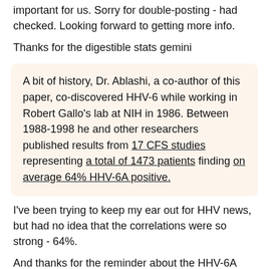important for us. Sorry for double-posting - had checked. Looking forward to getting more info.
Thanks for the digestible stats gemini
A bit of history, Dr. Ablashi, a co-author of this paper, co-discovered HHV-6 while working in Robert Gallo's lab at NIH in 1986. Between 1988-1998 he and other researchers published results from 17 CFS studies representing a total of 1473 patients finding on average 64% HHV-6A positive.
I've been trying to keep my ear out for HHV news, but had no idea that the correlations were so strong - 64%.
And thanks for the reminder about the HHV-6A Foundation Hope.
What a crazy disease where I'm hoping to have an AIDS/HIV-like cause found so that I can take serious anti-virals